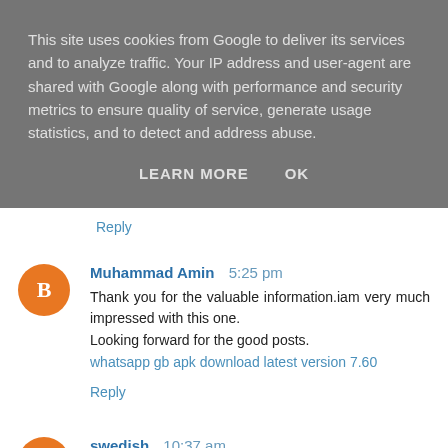This site uses cookies from Google to deliver its services and to analyze traffic. Your IP address and user-agent are shared with Google along with performance and security metrics to ensure quality of service, generate usage statistics, and to detect and address abuse.
LEARN MORE   OK
Reply
Muhammad Amin 5:25 pm
Thank you for the valuable information.iam very much impressed with this one.
Looking forward for the good posts.
whatsapp gb apk download latest version 7.60
Reply
swedish 10:37 am
https://swedish24.co.kr/